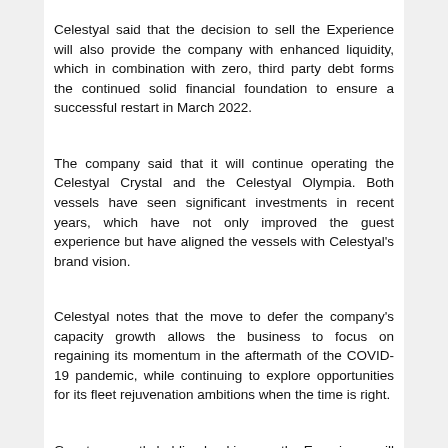Celestyal said that the decision to sell the Experience will also provide the company with enhanced liquidity, which in combination with zero, third party debt forms the continued solid financial foundation to ensure a successful restart in March 2022.
The company said that it will continue operating the Celestyal Crystal and the Celestyal Olympia. Both vessels have seen significant investments in recent years, which have not only improved the guest experience but have aligned the vessels with Celestyal's brand vision.
Celestyal notes that the move to defer the company's capacity growth allows the business to focus on regaining its momentum in the aftermath of the COVID-19 pandemic, while continuing to explore opportunities for its fleet rejuvenation ambitions when the time is right.
Guests currently holding bookings on the Experience will be contacted by Celestyal and re-accommodated on future sailings on the Celestyal Crystal.